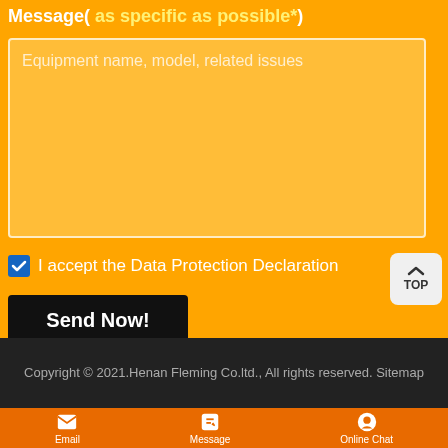Message( as specific as possible*)
Equipment name, model, related issues
I accept the Data Protection Declaration
Send Now!
TOP
Copyright © 2021.Henan Fleming Co.ltd., All rights reserved. Sitemap
Email  Message  Online Chat